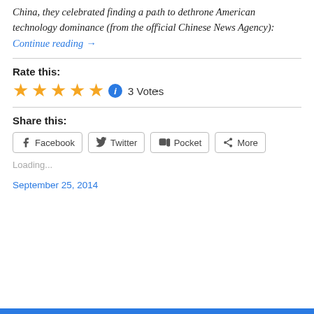China, they celebrated finding a path to dethrone American technology dominance (from the official Chinese News Agency): Continue reading →
Rate this:
[Figure (other): Five yellow star rating icons followed by a blue info icon and '3 Votes' text]
Share this:
Facebook  Twitter  Pocket  More
Loading...
September 25, 2014